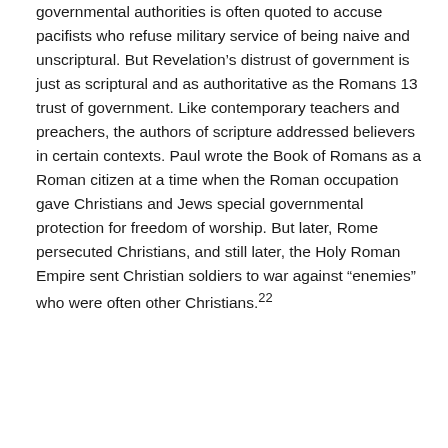governmental authorities is often quoted to accuse pacifists who refuse military service of being naive and unscriptural. But Revelation's distrust of government is just as scriptural and as authoritative as the Romans 13 trust of government. Like contemporary teachers and preachers, the authors of scripture addressed believers in certain contexts. Paul wrote the Book of Romans as a Roman citizen at a time when the Roman occupation gave Christians and Jews special governmental protection for freedom of worship. But later, Rome persecuted Christians, and still later, the Holy Roman Empire sent Christian soldiers to war against “enemies” who were often other Christians.²²